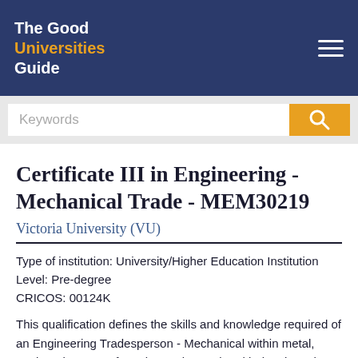The Good Universities Guide
Keywords
Certificate III in Engineering - Mechanical Trade - MEM30219
Victoria University (VU)
Type of institution: University/Higher Education Institution
Level: Pre-degree
CRICOS: 00124K
This qualification defines the skills and knowledge required of an Engineering Tradesperson - Mechanical within metal, engineering, manufacturing and associated industries. The qualification has been specifically developed for